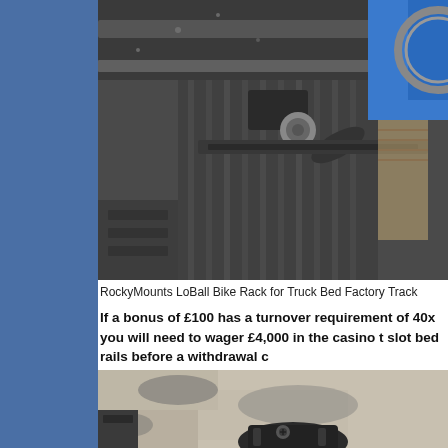[Figure (photo): Close-up photo of a RockyMounts LoBall bike rack mounted on a truck bed factory track system, showing dark metal clamps, bolts, and a bicycle wheel with blue fork visible]
RockyMounts LoBall Bike Rack for Truck Bed Factory Track
If a bonus of £100 has a turnover requirement of 40x you will need to wager £4,000 in the casino t slot bed rails before a withdrawal c
[Figure (photo): Close-up photo of a dark metal bike rack or clamp component on a concrete or stone surface]